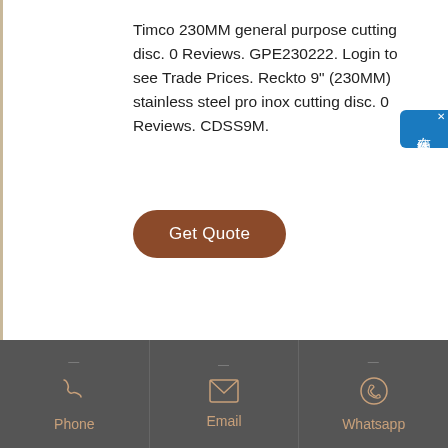Timco 230MM general purpose cutting disc. 0 Reviews. GPE230222. Login to see Trade Prices. Reckto 9" (230MM) stainless steel pro inox cutting disc. 0 Reviews. CDSS9M.
Get Quote
[Figure (infographic): Blue sidebar widget with Chinese characters reading '在线咨询' (online consultation) and a close button]
Phone | Email | Whatsapp